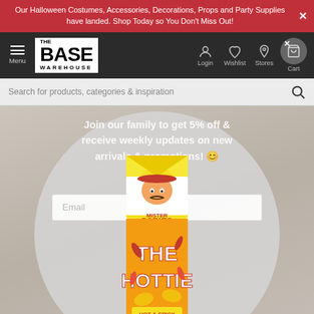Our Halloween Costumes, Accessories, Decorations, Props and Party Supplies have landed. Shop Today so You Don't Miss Out!
[Figure (screenshot): The Base Warehouse navigation bar with hamburger menu, logo, login, wishlist, stores, and cart icons on dark background]
Search for products, categories & inspiration
Join our family to get 5% off & receive weekly updates on new arrivals & promotions! 😊
Email
[Figure (photo): Mister Potato Chips can - The Hottie Hot & Spicy Flavour, yellow and orange packaging with cartoon mascot wearing sombrero]